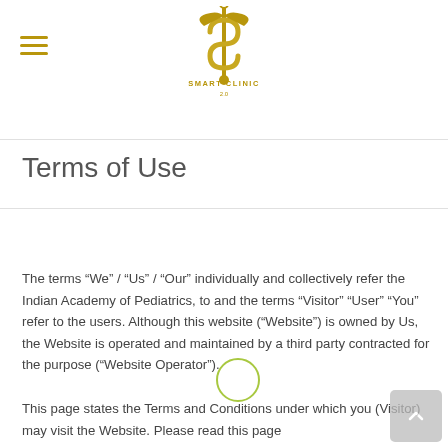[Figure (logo): Smart Clinic 2.0 logo — golden caduceus-style S symbol with text SMART CLINIC 2.0 below in gold]
Terms of Use
The terms “We” / “Us” / “Our” individually and collectively refer the Indian Academy of Pediatrics, to and the terms “Visitor” “User” “You” refer to the users. Although this website (“Website”) is owned by Us, the Website is operated and maintained by a third party contracted for the purpose (“Website Operator”).
This page states the Terms and Conditions under which you (Visitor) may visit the Website. Please read this page